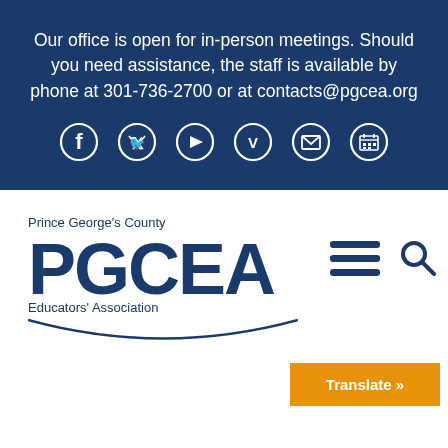Our office is open for in-person meetings. Should you need assistance, the staff is available by phone at 301-736-2700 or at contacts@pgcea.org
[Figure (infographic): Row of 6 social media/contact icons in white circles on dark blue background: Facebook, Twitter, YouTube, Vimeo, Email, Calendar]
[Figure (logo): Prince George's County PGCEA Educators' Association logo in dark blue with arc underline]
[Figure (infographic): Hamburger menu icon (3 horizontal lines) and search magnifying glass icon in dark blue]
Translate »